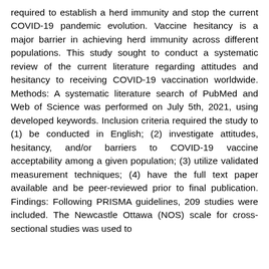required to establish a herd immunity and stop the current COVID-19 pandemic evolution. Vaccine hesitancy is a major barrier in achieving herd immunity across different populations. This study sought to conduct a systematic review of the current literature regarding attitudes and hesitancy to receiving COVID-19 vaccination worldwide. Methods: A systematic literature search of PubMed and Web of Science was performed on July 5th, 2021, using developed keywords. Inclusion criteria required the study to (1) be conducted in English; (2) investigate attitudes, hesitancy, and/or barriers to COVID-19 vaccine acceptability among a given population; (3) utilize validated measurement techniques; (4) have the full text paper available and be peer-reviewed prior to final publication. Findings: Following PRISMA guidelines, 209 studies were included. The Newcastle Ottawa (NOS) scale for cross-sectional studies was used to